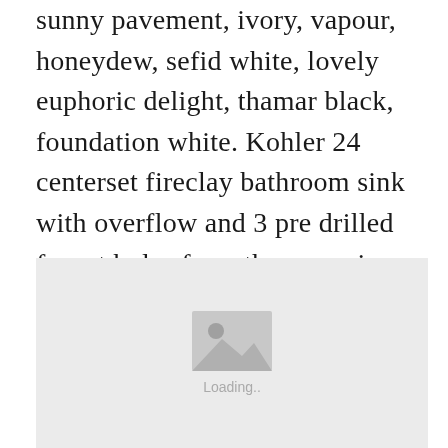sunny pavement, ivory, vapour, honeydew, sefid white, lovely euphoric delight, thamar black, foundation white. Kohler 24 centerset fireclay bathroom sink with overflow and 3 pre drilled faucet holes from the memoirs collection.
[Figure (photo): Image loading placeholder with a grey background, a photo icon, and 'Loading..' text beneath it.]